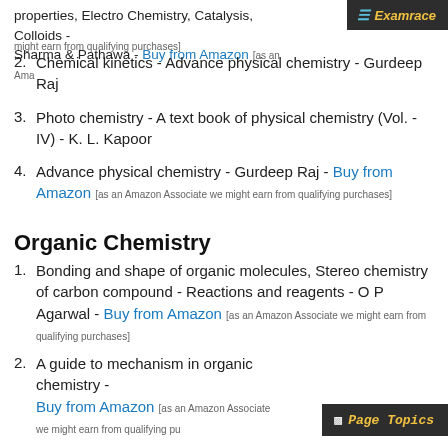properties, Electro Chemistry, Catalysis, Colloids - Sharma & Pathawa - Buy from Amazon [as an Amazon Associate we might earn from qualifying purchases]
2. Chemical kinetics - Advance physical chemistry - Gurdeep Raj
3. Photo chemistry - A text book of physical chemistry (Vol. - IV) - K. L. Kapoor
4. Advance physical chemistry - Gurdeep Raj - Buy from Amazon [as an Amazon Associate we might earn from qualifying purchases]
Organic Chemistry
1. Bonding and shape of organic molecules, Stereo chemistry of carbon compound - Reactions and reagents - O P Agarwal - Buy from Amazon [as an Amazon Associate we might earn from qualifying purchases]
2. A guide to mechanism in organic chemistry - Buy from Amazon [as an Amazon Associate we might earn from qualifying purchases]